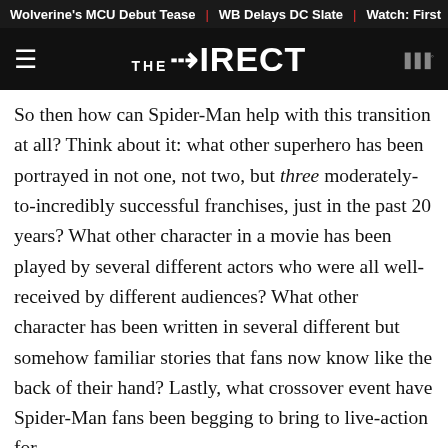Wolverine's MCU Debut Tease | WB Delays DC Slate | Watch: First
[Figure (logo): The Direct website logo on dark background with hamburger menu and weather icon]
So then how can Spider-Man help with this transition at all? Think about it: what other superhero has been portrayed in not one, not two, but three moderately-to-incredibly successful franchises, just in the past 20 years? What other character in a movie has been played by several different actors who were all well-received by different audiences? What other character has been written in several different but somehow familiar stories that fans now know like the back of their hand? Lastly, what crossover event have Spider-Man fans been begging to bring to live-action for